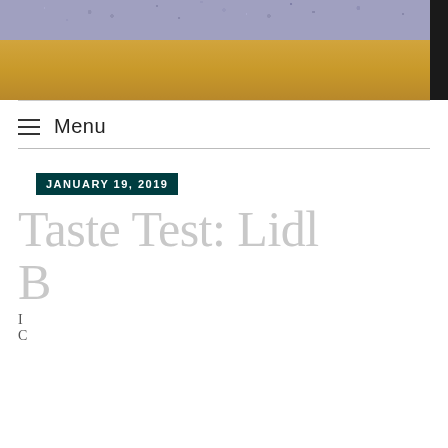[Figure (photo): Close-up photo of a beer glass with golden/amber beer and a foamy head with bubbles at the top, with a dark edge on the right side]
≡ Menu
JANUARY 19, 2019
Taste Test: Lidl B
Privacy & Cookies: This site uses cookies. By continuing to use this website, you agree to their use.
To find out more, including how to control cookies, see here: Cookie Policy
Close and accept
I
C
results of a new one some store (which is pretty